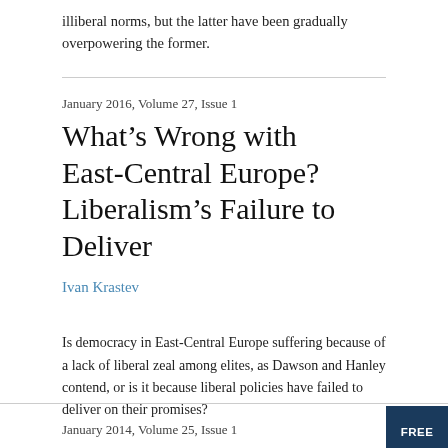illiberal norms, but the latter have been gradually overpowering the former.
January 2016, Volume 27, Issue 1
What's Wrong with East-Central Europe? Liberalism's Failure to Deliver
Ivan Krastev
Is democracy in East-Central Europe suffering because of a lack of liberal zeal among elites, as Dawson and Hanley contend, or is it because liberal policies have failed to deliver on their promises?
January 2014, Volume 25, Issue 1